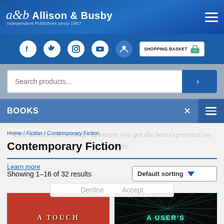Allison & Busby – Independent Publishers since 1967
[Figure (screenshot): Social media icons: Facebook, Twitter, Instagram, YouTube, user profile, and Shopping Basket button]
[Figure (screenshot): Search products... input field with blue search button]
BOOKS
This website uses cookies to ensure you get the best experience on our website.
Home / Fiction / Contemporary Fiction
Contemporary Fiction
Learn more
Showing 1–16 of 32 results
Default sorting
Decline
Accept
[Figure (photo): Book cover thumbnail – red background with text 'A TOUCH...']
[Figure (photo): Book cover thumbnail – dark background with cyan/teal text 'A USER'S...']